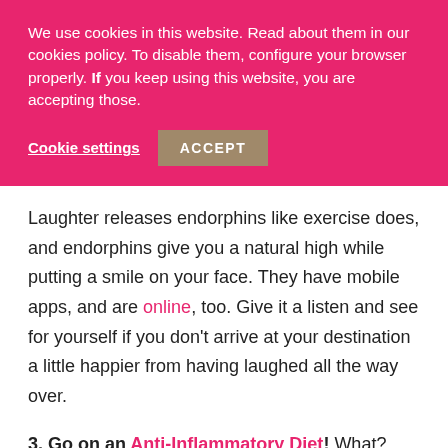We use cookies in this website. Read about them in our cookies policy. To disable them, configure your browser properly. If you keep using this website, you are accepting those.
Cookie settings   ACCEPT
Laughter releases endorphins like exercise does, and endorphins give you a natural high while putting a smile on your face. They have mobile apps, and are online, too. Give it a listen and see for yourself if you don't arrive at your destination a little happier from having laughed all the way over.
3. Go on an Anti-Inflammatory Diet! What? This doesn't sound exciting or mood-lifting? Here the fact: